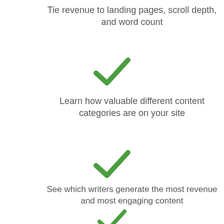Tie revenue to landing pages, scroll depth, and word count
[Figure (illustration): Green checkmark icon]
Learn how valuable different content categories are on your site
[Figure (illustration): Green checkmark icon]
See which writers generate the most revenue and most engaging content
[Figure (illustration): Green checkmark icon]